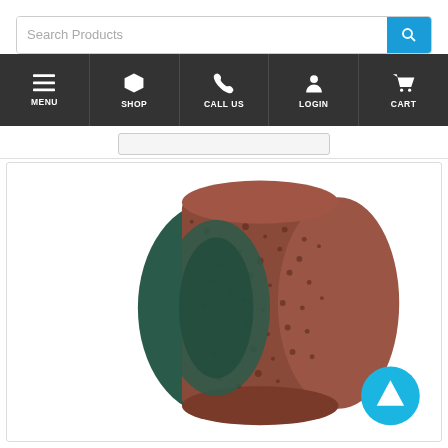[Figure (screenshot): E-commerce website screenshot showing a search bar with 'Search Products' placeholder, a dark navigation bar with icons and labels for MENU, SHOP, CALL US, LOGIN, CART, and a product image of an abrasive sanding roll (brown/reddish textured cylindrical abrasive sleeve) with a teal/scroll-up arrow button at the bottom right of the image frame.]